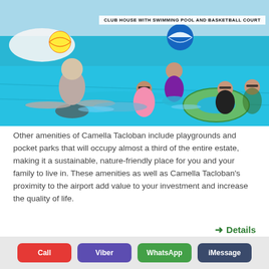[Figure (photo): People swimming in a bright blue outdoor swimming pool. Several people in the water, one holding a large green inflatable ring. Beach balls visible in the background near a white inflatable structure.]
CLUB HOUSE WITH SWIMMING POOL AND BASKETBALL COURT
Other amenities of Camella Tacloban include playgrounds and pocket parks that will occupy almost a third of the entire estate, making it a sustainable, nature-friendly place for you and your family to live in. These amenities as well as Camella Tacloban's proximity to the airport add value to your investment and increase the quality of life.
→ Details